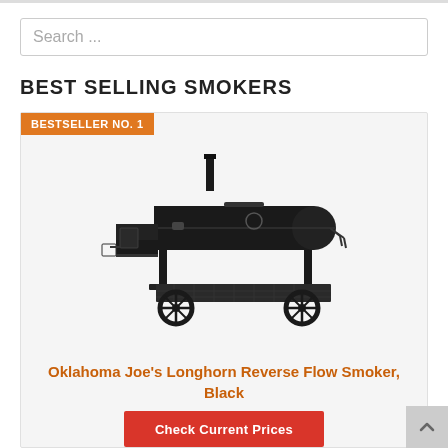Search ...
BEST SELLING SMOKERS
BESTSELLER NO. 1
[Figure (photo): Oklahoma Joe's Longhorn Reverse Flow Smoker in black, a large barrel-style offset smoker on wheels with a side firebox and bottom shelf]
Oklahoma Joe's Longhorn Reverse Flow Smoker, Black
$919.12
Check Current Prices